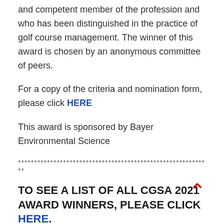and competent member of the profession and who has been distinguished in the practice of golf course management.  The winner of this award is chosen by an anonymous committee of peers.
For a copy of the criteria and nomination form, please click HERE
This award is sponsored by Bayer Environmental Science
************************************************************
TO SEE A LIST OF ALL CGSA 2021 AWARD WINNERS, PLEASE CLICK HERE.
2021 AWARD WINNERS